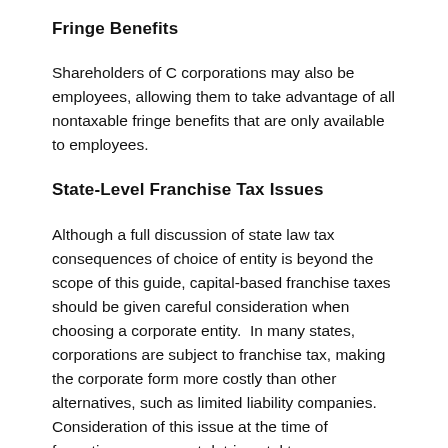Fringe Benefits
Shareholders of C corporations may also be employees, allowing them to take advantage of all nontaxable fringe benefits that are only available to employees.
State-Level Franchise Tax Issues
Although a full discussion of state law tax consequences of choice of entity is beyond the scope of this guide, capital-based franchise taxes should be given careful consideration when choosing a corporate entity.  In many states, corporations are subject to franchise tax, making the corporate form more costly than other alternatives, such as limited liability companies. Consideration of this issue at the time of formation can prevent detrimental tax